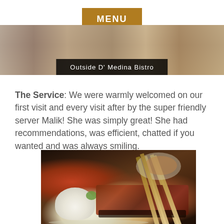[Figure (other): Orange/brown MENU button at top center]
[Figure (photo): Photo of outside of D' Medina Bistro restaurant]
Outside D' Medina Bistro
The Service: We were warmly welcomed on our first visit and every visit after by the super friendly server Malik! She was simply great! She had recommendations, was efficient, chatted if you wanted and was always smiling.
[Figure (photo): Food photo showing rice and satay skewers on a plate with sauce, another plate in background]